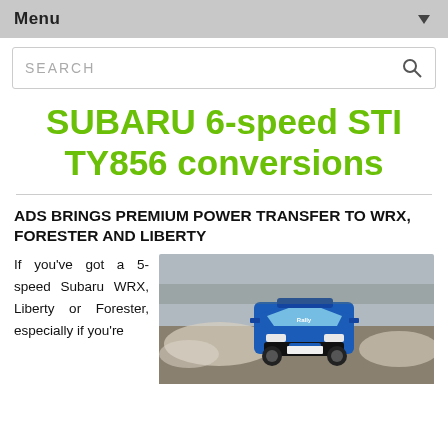Menu
SEARCH
SUBARU 6-speed STI TY856 conversions
ADS BRINGS PREMIUM POWER TRANSFER TO WRX, FORESTER AND LIBERTY
If you've got a 5-speed Subaru WRX, Liberty or Forester, especially if you're
[Figure (photo): A blue Subaru rally car driving on a dirt/snow track, front view, with Rally branding visible on the windscreen]